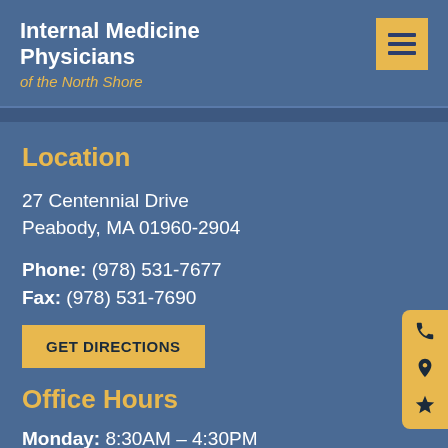Internal Medicine Physicians of the North Shore
Location
27 Centennial Drive
Peabody, MA 01960-2904
Phone: (978) 531-7677
Fax: (978) 531-7690
GET DIRECTIONS
Office Hours
Monday: 8:30AM – 4:30PM
Tuesday: 8:30AM – 4:30PM
Wednesday: 8:30AM – 4:30PM
Thursday: 8:30AM – 4:30PM